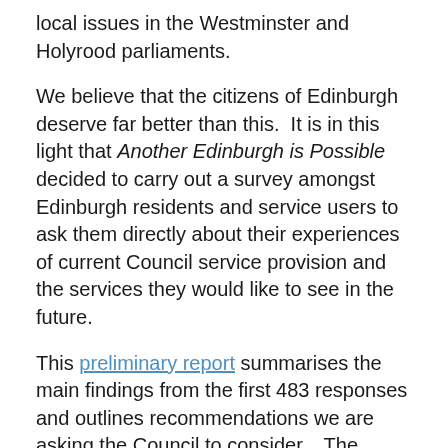local issues in the Westminster and Holyrood parliaments.
We believe that the citizens of Edinburgh deserve far better than this.  It is in this light that Another Edinburgh is Possible decided to carry out a survey amongst Edinburgh residents and service users to ask them directly about their experiences of current Council service provision and the services they would like to see in the future.
This preliminary report summarises the main findings from the first 483 responses and outlines recommendations we are asking the Council to consider.   The survey closes on the 21st February.  We will then produce a more